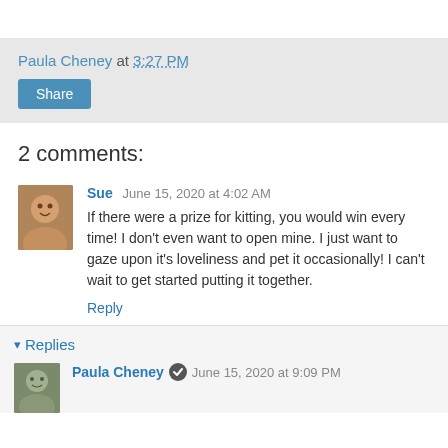Paula Cheney at 3:27 PM
Share
2 comments:
Sue  June 15, 2020 at 4:02 AM
If there were a prize for kitting, you would win every time! I don't even want to open mine. I just want to gaze upon it's loveliness and pet it occasionally! I can't wait to get started putting it together.
Reply
▾ Replies
Paula Cheney  June 15, 2020 at 9:09 PM